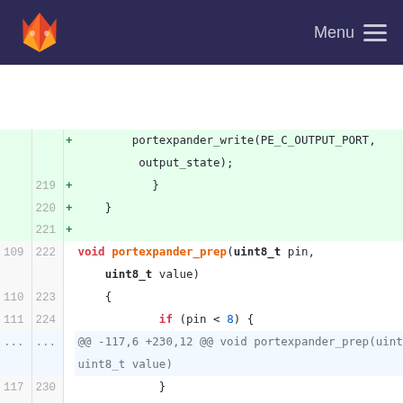GitLab navigation bar with logo and Menu button
[Figure (screenshot): GitLab diff view showing code changes in a C source file. Added lines (green background) show portexpander_write call, closing braces, and new function portexpander_prep and portexpander_out_get. Neutral lines show existing function body. A hunk header shows @@ -117,6 +230,12 @@ void portexpander_prep(uint8_t pin, uint8_t value).]